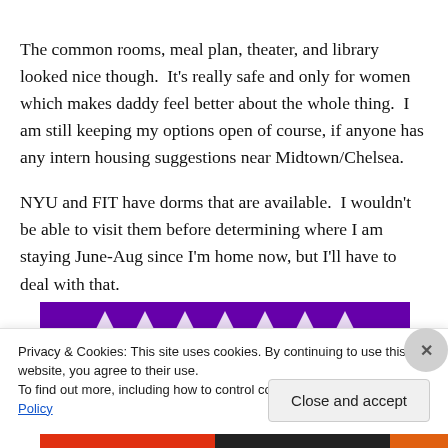The common rooms, meal plan, theater, and library looked nice though. It's really safe and only for women which makes daddy feel better about the whole thing. I am still keeping my options open of course, if anyone has any intern housing suggestions near Midtown/Chelsea.
NYU and FIT have dorms that are available. I wouldn't be able to visit them before determining where I am staying June-Aug since I'm home now, but I'll have to deal with that.
[Figure (other): Partial view of a purple banner/header with white triangle/arrow shapes, partially obscured by cookie consent overlay. Below is a strip of red, black, and orange colors.]
Privacy & Cookies: This site uses cookies. By continuing to use this website, you agree to their use.
To find out more, including how to control cookies, see here: Cookie Policy